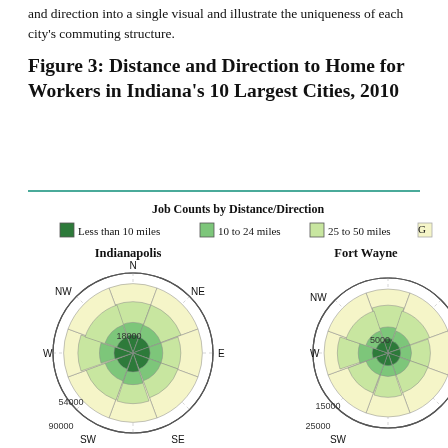and direction into a single visual and illustrate the uniqueness of each city's commuting structure.
Figure 3: Distance and Direction to Home for Workers in Indiana's 10 Largest Cities, 2010
[Figure (radar-chart): Wind rose / polar area chart showing distance and direction to home for workers in Indianapolis and Fort Wayne. Distance bands: Less than 10 miles (dark green), 10 to 24 miles (medium green), 25 to 50 miles (light green), Greater (pale yellow). Indianapolis radial scale labels: 18000, 54000, 90000. Fort Wayne scale labels: 5000(?), 15000, 25000. Eight compass directions shown: N, NE, E, SE, S, SW, W, NW.]